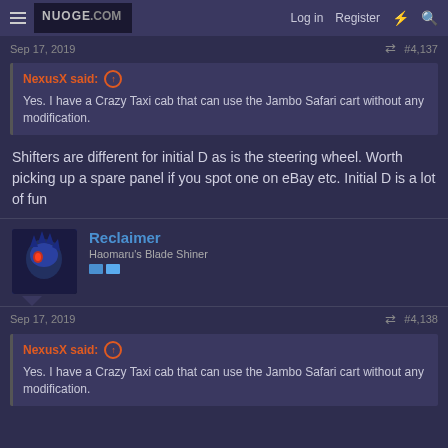Log in  Register
Sep 17, 2019    #4,137
NexusX said:
Yes. I have a Crazy Taxi cab that can use the Jambo Safari cart without any modification.
Shifters are different for initial D as is the steering wheel. Worth picking up a spare panel if you spot one on eBay etc. Initial D is a lot of fun
Reclaimer
Haomaru's Blade Shiner
Sep 17, 2019    #4,138
NexusX said:
Yes. I have a Crazy Taxi cab that can use the Jambo Safari cart without any modification.